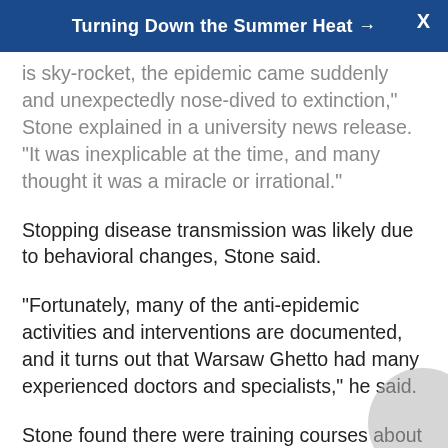Turning Down the Summer Heat →
is sky-rocket, the epidemic came suddenly and unexpectedly nose-dived to extinction," Stone explained in a university news release. "It was inexplicable at the time, and many thought it was a miracle or irrational."
Stopping disease transmission was likely due to behavioral changes, Stone said.
"Fortunately, many of the anti-epidemic activities and interventions are documented, and it turns out that Warsaw Ghetto had many experienced doctors and specialists," he said.
Stone found there were training courses about public hygiene and infectious diseases, hundreds of lectures on the fight against typhus and a medical university for young people.